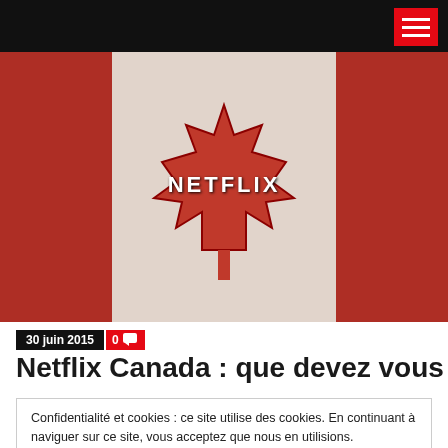[Figure (illustration): Canadian flag with Netflix logo overlay — red and white flag with maple leaf, 'NETFLIX' text centered on the maple leaf, grungy textured style]
30 juin 2015  0 💬
Netflix Canada : que devez vous
Confidentialité et cookies : ce site utilise des cookies. En continuant à naviguer sur ce site, vous acceptez que nous en utilisions. Pour en savoir plus, y compris sur la façon de contrôler les cookies, reportez-vous à ce qui suit : Politique relative aux cookies
Fermer et accepter